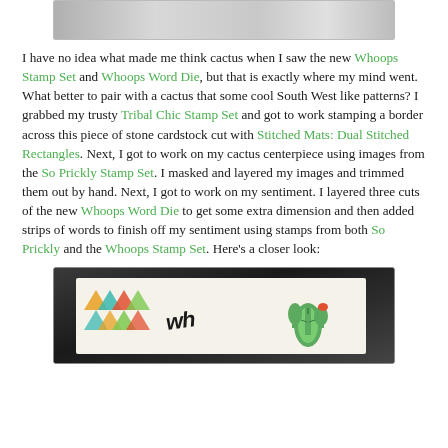[Figure (photo): Top portion of a crafted card photo, partially visible at top of page]
I have no idea what made me think cactus when I saw the new Whoops Stamp Set and Whoops Word Die, but that is exactly where my mind went.  What better to pair with a cactus that some cool South West like patterns?  I grabbed my trusty Tribal Chic Stamp Set and got to work stamping a border across this piece of stone cardstock cut with Stitched Mats: Dual Stitched Rectangles.  Next, I got to work on my cactus centerpiece using images from the So Prickly Stamp Set.  I masked and layered my images and trimmed them out by hand.  Next, I got to work on my sentiment.  I layered three cuts of the new Whoops Word Die to get some extra dimension and then added strips of words to finish off my sentiment using stamps from both So Prickly and the Whoops Stamp Set.  Here's a closer look:
[Figure (photo): Close-up photo of a handmade card featuring a cactus centerpiece with colorful triangle patterns and 'whoops' sentiment text on a dark background]